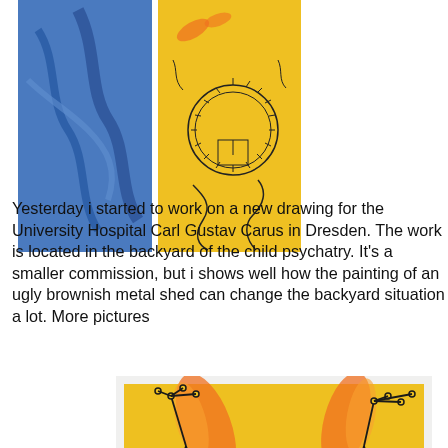[Figure (photo): Two photos side by side: left shows blue abstract paint on a wall/metal surface, right shows a yellow artwork with a circular mechanical/gear drawing (satellite dish or crown shape) with organic line drawings on yellow background]
Yesterday i started to work on a new drawing for the University Hospital Carl Gustav Carus in Dresden. The work is located in the backyard of the child psychatry. It's a smaller commission, but i shows well how the painting of an ugly brownish metal shed can change the backyard situation a lot. More pictures
[Figure (photo): Yellow artwork with intricate black line drawings of branching tree-like forms, constellation-like connected dots, and wavy lines on a warm yellow-orange background, framed in white]